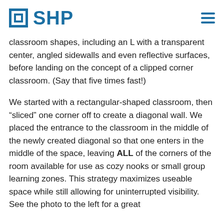SHP
classroom shapes, including an L with a transparent center, angled sidewalls and even reflective surfaces, before landing on the concept of a clipped corner classroom. (Say that five times fast!)
We started with a rectangular-shaped classroom, then “sliced” one corner off to create a diagonal wall. We placed the entrance to the classroom in the middle of the newly created diagonal so that one enters in the middle of the space, leaving ALL of the corners of the room available for use as cozy nooks or small group learning zones. This strategy maximizes useable space while still allowing for uninterrupted visibility. See the photo to the left for a great